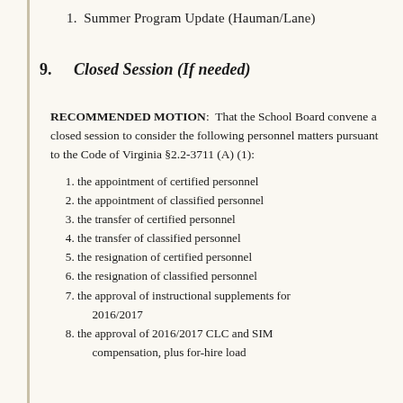1. Summer Program Update (Hauman/Lane)
9. Closed Session (If needed)
RECOMMENDED MOTION: That the School Board convene a closed session to consider the following personnel matters pursuant to the Code of Virginia §2.2-3711 (A) (1):
1. the appointment of certified personnel
2. the appointment of classified personnel
3. the transfer of certified personnel
4. the transfer of classified personnel
5. the resignation of certified personnel
6. the resignation of classified personnel
7. the approval of instructional supplements for 2016/2017
8. the approval of 2016/2017 CLC and SIM compensation, plus for-hire load...